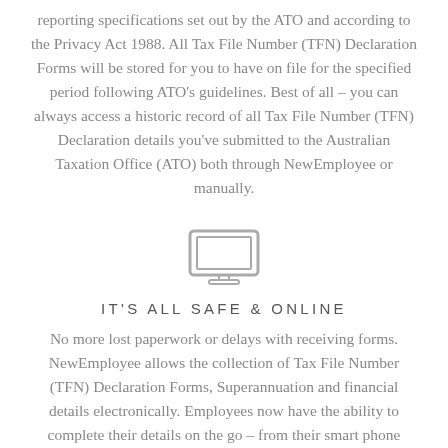reporting specifications set out by the ATO and according to the Privacy Act 1988. All Tax File Number (TFN) Declaration Forms will be stored for you to have on file for the specified period following ATO's guidelines. Best of all – you can always access a historic record of all Tax File Number (TFN) Declaration details you've submitted to the Australian Taxation Office (ATO) both through NewEmployee or manually.
[Figure (illustration): Simple line-art icon of a laptop/monitor screen]
IT'S ALL SAFE & ONLINE
No more lost paperwork or delays with receiving forms. NewEmployee allows the collection of Tax File Number (TFN) Declaration Forms, Superannuation and financial details electronically. Employees now have the ability to complete their details on the go – from their smart phone